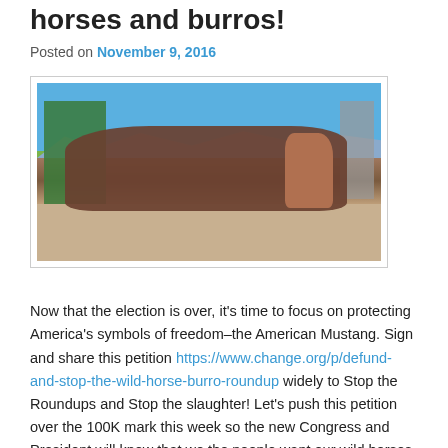horses and burros!
Posted on November 9, 2016
[Figure (photo): A group of wild horses crowded together in a sandy corral with metal fencing, mountains and blue sky in the background.]
Now that the election is over, it’s time to focus on protecting America’s symbols of freedom–the American Mustang. Sign and share this petition https://www.change.org/p/defund-and-stop-the-wild-horse-burro-roundup widely to Stop the Roundups and Stop the slaughter! Let’s push this petition over the 100K mark this week so the new Congress and President will know that we the people want our wild horses and burros protected